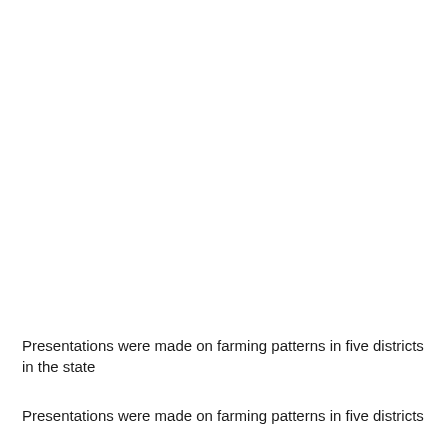Presentations were made on farming patterns in five districts in the state
Presentations were made on farming patterns in five districts